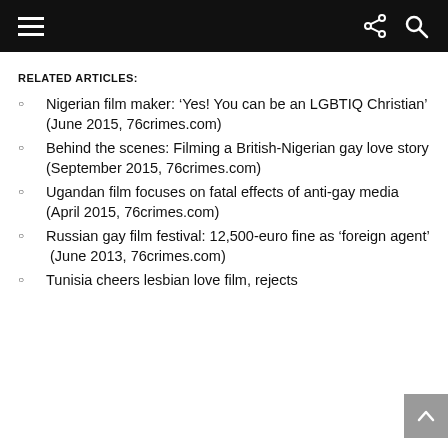RELATED ARTICLES:
Nigerian film maker: ‘Yes! You can be an LGBTIQ Christian’ (June 2015, 76crimes.com)
Behind the scenes: Filming a British-Nigerian gay love story (September 2015, 76crimes.com)
Ugandan film focuses on fatal effects of anti-gay media  (April 2015, 76crimes.com)
Russian gay film festival: 12,500-euro fine as ‘foreign agent’  (June 2013, 76crimes.com)
Tunisia cheers lesbian love film, rejects